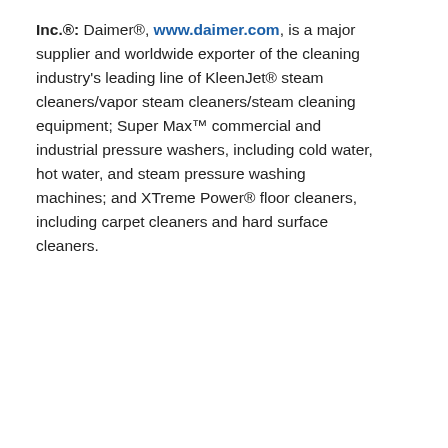Inc.®: Daimer®, www.daimer.com, is a major supplier and worldwide exporter of the cleaning industry's leading line of KleenJet® steam cleaners/vapor steam cleaners/steam cleaning equipment; Super Max™ commercial and industrial pressure washers, including cold water, hot water, and steam pressure washing machines; and XTreme Power® floor cleaners, including carpet cleaners and hard surface cleaners.